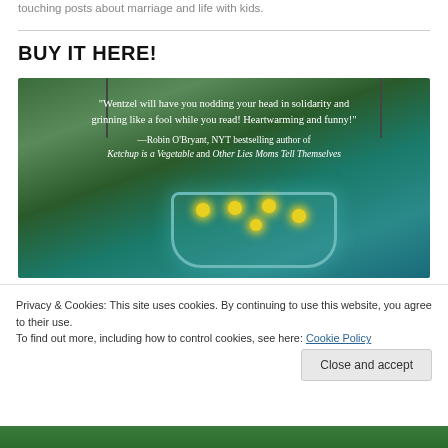touching posts about marriage and life with kids.
BUY IT HERE!
[Figure (photo): Book cover image showing a mason jar with fireflies and a quote: 'Wentzel will have you nodding your head in solidarity and grinning like a fool while you read! Heartwarming and funny!' —Robin O'Bryant, NYT bestselling author of Ketchup is a Vegetable and Other Lies Moms Tell Themselves]
Privacy & Cookies: This site uses cookies. By continuing to use this website, you agree to their use.
To find out more, including how to control cookies, see here: Cookie Policy
Close and accept